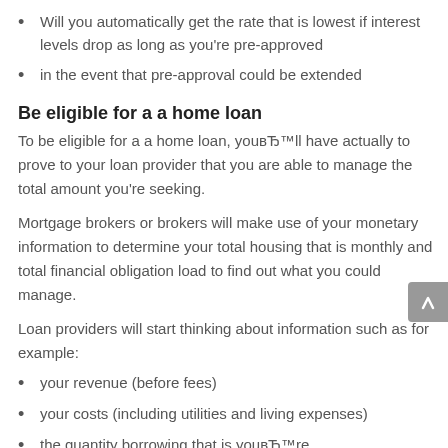Will you automatically get the rate that is lowest if interest levels drop as long as you're pre-approved
in the event that pre-approval could be extended
Be eligible for a a home loan
To be eligible for a a home loan, youвЂ™ll have actually to prove to your loan provider that you are able to manage the total amount you're seeking.
Mortgage brokers or brokers will make use of your monetary information to determine your total housing that is monthly and total financial obligation load to find out what you could manage.
Loan providers will start thinking about information such as for example:
your revenue (before fees)
your costs (including utilities and living expenses)
the quantity borrowing that is youвЂ™re
your financial situation